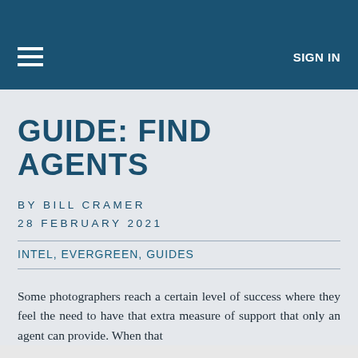SIGN IN
GUIDE: FIND AGENTS
BY BILL CRAMER
28 FEBRUARY 2021
INTEL, EVERGREEN, GUIDES
Some photographers reach a certain level of success where they feel the need to have that extra measure of support that only an agent can provide. When that